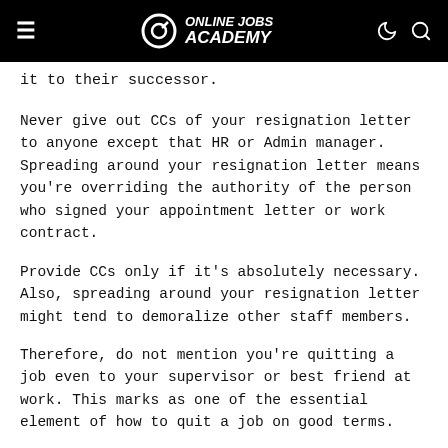Online Jobs Academy
it to their successor.
Never give out CCs of your resignation letter to anyone except that HR or Admin manager. Spreading around your resignation letter means you’re overriding the authority of the person who signed your appointment letter or work contract.
Provide CCs only if it’s absolutely necessary. Also, spreading around your resignation letter might tend to demoralize other staff members.
Therefore, do not mention you’re quitting a job even to your supervisor or best friend at work. This marks as one of the essential element of how to quit a job on good terms.